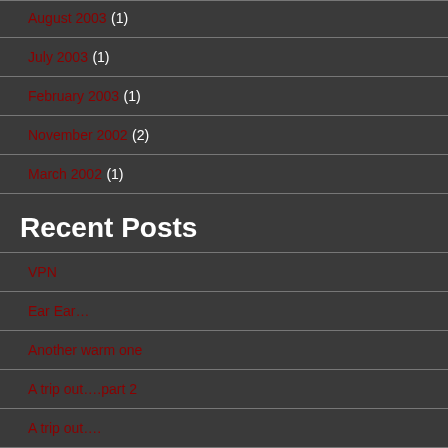August 2003 (1)
July 2003 (1)
February 2003 (1)
November 2002 (2)
March 2002 (1)
Recent Posts
VPN
Ear Ear…
Another warm one
A trip out….part 2
A trip out….